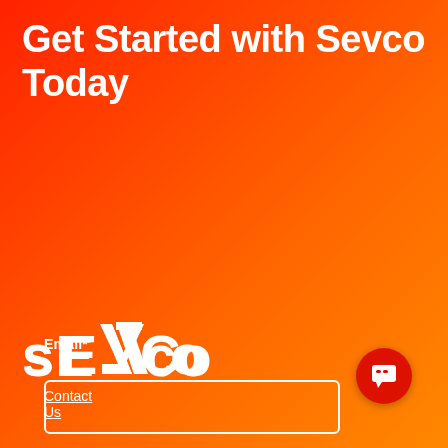Get Started with Sevco Today
Email*
[Figure (other): Empty email input field with white border on red/orange gradient background]
Submit
[Figure (logo): Sevco logo in white text on red/orange gradient background]
Contact Us
[Figure (other): Chat bubble icon button in bottom right corner]